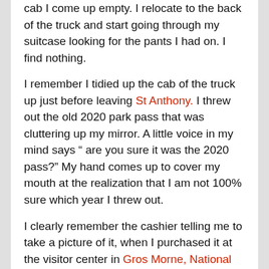cab I come up empty. I relocate to the back of the truck and start going through my suitcase looking for the pants I had on. I find nothing.
I remember I tidied up the cab of the truck up just before leaving St Anthony. I threw out the old 2020 park pass that was cluttering up my mirror. A little voice in my mind says “ are you sure it was the 2020 pass?” My hand comes up to cover my mouth at the realization that I am not 100% sure which year I threw out.
I clearly remember the cashier telling me to take a picture of it, when I purchased it at the visitor center in Gros Morne, National Park. The next logical thing to do was to start scrolling through my photos of that day, so many days ago. Two camera SD cards and a phone photo gallery produced nothing. If I took a picture of it, I can’t find that either.